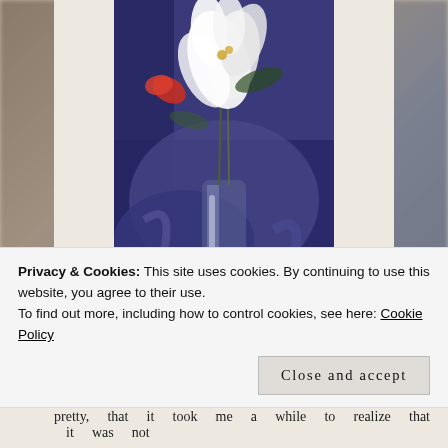[Figure (illustration): A painting of white lilies/flowers in a glass vase against a deep purple/blue background, rendered in an impressionistic style]
Picture via Wikipaintings
If Serge Lutens' Tubereuse Criminelle was special
Privacy & Cookies: This site uses cookies. By continuing to use this website, you agree to their use.
To find out more, including how to control cookies, see here: Cookie Policy
Close and accept
pretty, that it took me a while to realize that it was not